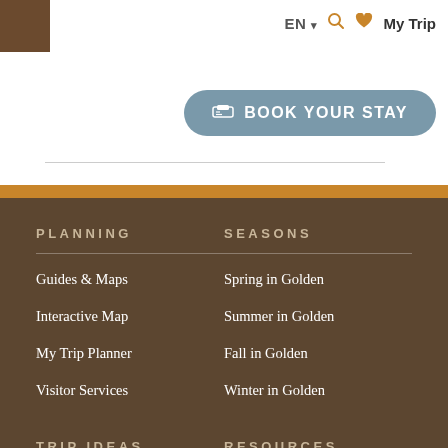EN ▾  🔍  ♥ My Trip
BOOK YOUR STAY
PLANNING
SEASONS
Guides & Maps
Spring in Golden
Interactive Map
Summer in Golden
My Trip Planner
Fall in Golden
Visitor Services
Winter in Golden
TRIP IDEAS
RESOURCES